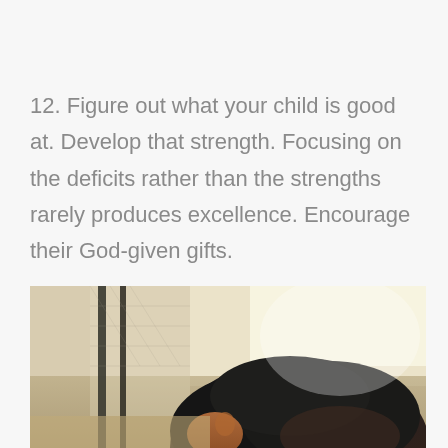12. Figure out what your child is good at. Develop that strength. Focusing on the deficits rather than the strengths rarely produces excellence. Encourage their God-given gifts.
[Figure (photo): A child with dark hair viewed from behind/side, looking through a chain-link fence, with sandy/earthy ground visible and bright backlighting.]